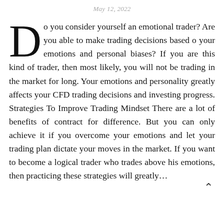May 12, 2022
Do you consider yourself an emotional trader? Are you able to make trading decisions based o your emotions and personal biases? If you are this kind of trader, then most likely, you will not be trading in the market for long. Your emotions and personality greatly affects your CFD trading decisions and investing progress. Strategies To Improve Trading Mindset There are a lot of benefits of contract for difference. But you can only achieve it if you overcome your emotions and let your trading plan dictate your moves in the market. If you want to become a logical trader who trades above his emotions, then practicing these strategies will greatly...